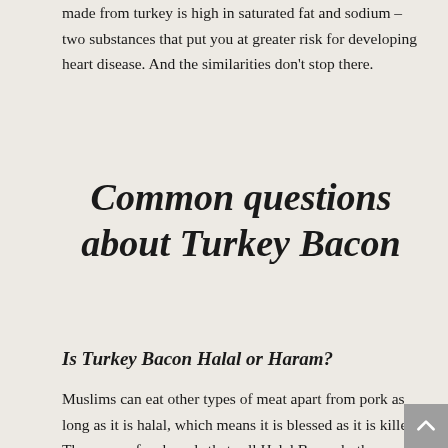made from turkey is high in saturated fat and sodium – two substances that put you at greater risk for developing heart disease. And the similarities don't stop there.
Common questions about Turkey Bacon
Is Turkey Bacon Halal or Haram?
Muslims can eat other types of meat apart from pork as long as it is halal, which means it is blessed as it is killed. There are a few brands that sell Halal Bacon both as Turkey and as Beef Bacon. You can find some Halal Bacon here. You can also check out for Claiming that